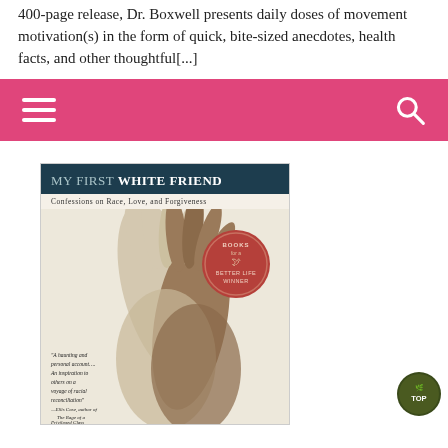400-page release, Dr. Boxwell presents daily doses of movement motivation(s) in the form of quick, bite-sized anecdotes, health facts, and other thoughtful[...]
[Figure (screenshot): Pink navigation bar with hamburger menu icon on the left and search icon on the right]
[Figure (photo): Book cover of 'My First White Friend: Confessions on Race, Love, and Forgiveness' showing two hands of different skin tones interlocked, with a Books for a Better Life Winner seal, and a quote about racial reconciliation.]